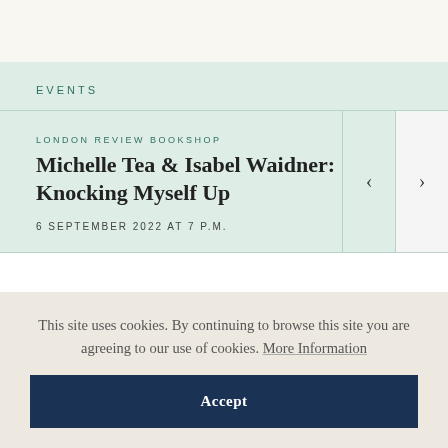EVENTS
LONDON REVIEW BOOKSHOP
Michelle Tea & Isabel Waidner: Knocking Myself Up
6 SEPTEMBER 2022 AT 7 P.M.
This site uses cookies. By continuing to browse this site you are agreeing to our use of cookies. More Information
Accept